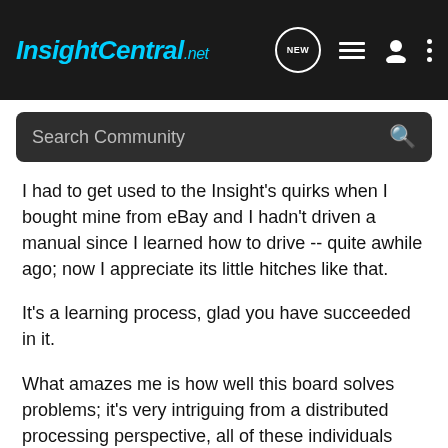InsightCentral.net
Search Community
I had to get used to the Insight's quirks when I bought mine from eBay and I hadn't driven a manual since I learned how to drive -- quite awhile ago; now I appreciate its little hitches like that.
It's a learning process, glad you have succeeded in it.
What amazes me is how well this board solves problems; it's very intriguing from a distributed processing perspective, all of these individuals with their unique experiences contributing (for better or worse) to solving the problems.
I think the Insight needs some Star Trek technology like a deflector array 😉 Imagine constantly drafting due to a deflector dish at the front that moved the air out of the way for